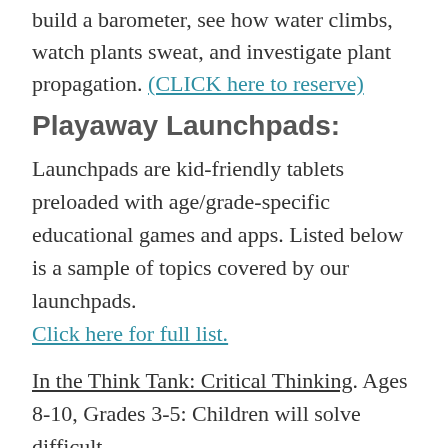build a barometer, see how water climbs, watch plants sweat, and investigate plant propagation. (CLICK here to reserve)
Playaway Launchpads:
Launchpads are kid-friendly tablets preloaded with age/grade-specific educational games and apps. Listed below is a sample of topics covered by our launchpads. Click here for full list.
In the Think Tank: Critical Thinking. Ages 8-10, Grades 3-5: Children will solve difficult